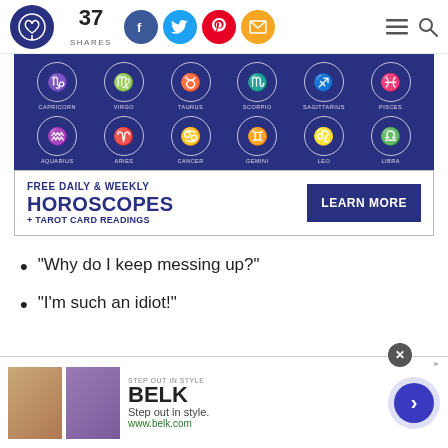37 SHARES [social share buttons: Facebook, Twitter, Pinterest, Email] [menu icon] [search icon]
[Figure (infographic): Horoscope zodiac signs grid on dark navy background. Two rows of 6 circular icons each. Row 1: Capricorn, Virgo, Taurus, Scorpio, Sagittarius, Pisces. Row 2: Aquarius, Aries, Cancer, Gemini, Leo, Libra.]
[Figure (infographic): Advertisement banner: FREE DAILY & WEEKLY HOROSCOPES + TAROT CARD READINGS with LEARN MORE button]
"Why do I keep messing up?"
"I'm such an idiot!"
[Figure (infographic): BELK advertisement banner at bottom: STEP OUT IN STYLE, with two clothing images, brand name BELK, tagline 'Step out in style. www.belk.com', and a forward arrow button. Close (X) button in top right corner.]